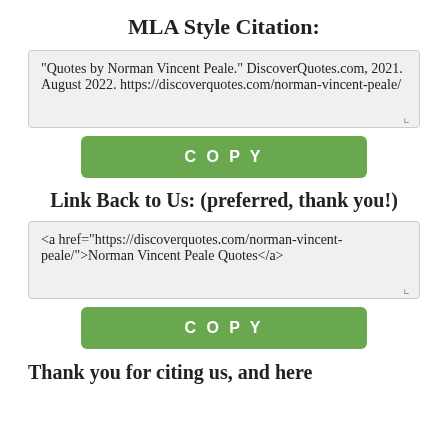MLA Style Citation:
"Quotes by Norman Vincent Peale." DiscoverQuotes.com, 2021. August 2022. https://discoverquotes.com/norman-vincent-peale/
COPY
Link Back to Us: (preferred, thank you!)
<a href="https://discoverquotes.com/norman-vincent-peale/">Norman Vincent Peale Quotes</a>
COPY
Thank you for citing us, and here